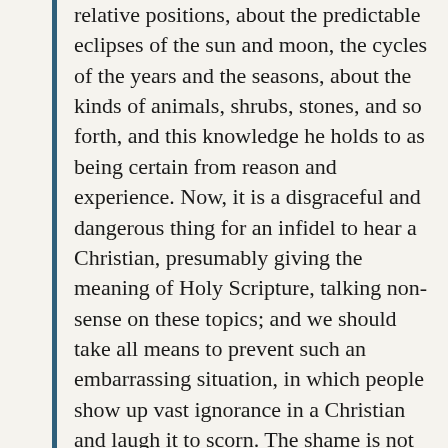relative positions, about the predictable eclipses of the sun and moon, the cycles of the years and the seasons, about the kinds of animals, shrubs, stones, and so forth, and this knowledge he holds to as being certain from reason and experience. Now, it is a disgraceful and dangerous thing for an infidel to hear a Christian, presumably giving the meaning of Holy Scripture, talking non-sense on these topics; and we should take all means to prevent such an embarrassing situation, in which people show up vast ignorance in a Christian and laugh it to scorn. The shame is not so much that an ignorant individual is derided, but